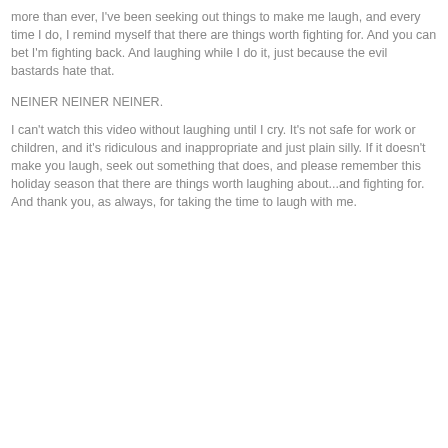more than ever, I've been seeking out things to make me laugh, and every time I do, I remind myself that there are things worth fighting for. And you can bet I'm fighting back. And laughing while I do it, just because the evil bastards hate that.
NEINER NEINER NEINER.
I can't watch this video without laughing until I cry. It's not safe for work or children, and it's ridiculous and inappropriate and just plain silly. If it doesn't make you laugh, seek out something that does, and please remember this holiday season that there are things worth laughing about...and fighting for. And thank you, as always, for taking the time to laugh with me.